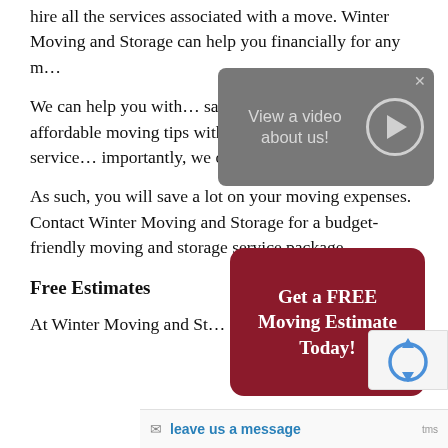hire all the services associated with a move. Winter Moving and Storage can help you financially for any m…
[Figure (other): Gray video overlay button reading 'View a video about us!' with a play button circle on the right and an X close button.]
We can help you with… saving tips or provide affordable moving tips without compromising service… importantly, we offer free estim… services.
[Figure (other): Dark red rounded rectangle CTA button reading 'Get a FREE Moving Estimate Today!' in bold white text.]
As such, you will save a lot on your moving expenses. Contact Winter Moving and Storage for a budget-friendly moving and storage service package.
Free Estimates
At Winter Moving and St…
[Figure (other): reCAPTCHA badge with blue spinning arrows logo on right side of page.]
[Figure (other): Bottom message bar with envelope icon and 'leave us a message' link in blue.]